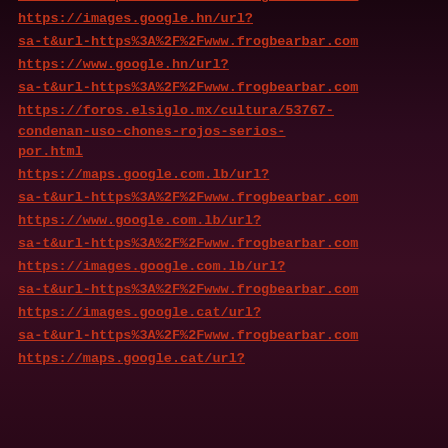sa-t&url-https%3A%2F%2Fwww.frogbearbar.com
https://images.google.hn/url?
sa-t&url-https%3A%2F%2Fwww.frogbearbar.com
https://www.google.hn/url?
sa-t&url-https%3A%2F%2Fwww.frogbearbar.com
https://foros.elsiglo.mx/cultura/53767-condenan-uso-chones-rojos-serios-por.html
https://maps.google.com.lb/url?
sa-t&url-https%3A%2F%2Fwww.frogbearbar.com
https://www.google.com.lb/url?
sa-t&url-https%3A%2F%2Fwww.frogbearbar.com
https://images.google.com.lb/url?
sa-t&url-https%3A%2F%2Fwww.frogbearbar.com
https://images.google.cat/url?
sa-t&url-https%3A%2F%2Fwww.frogbearbar.com
https://maps.google.cat/url?